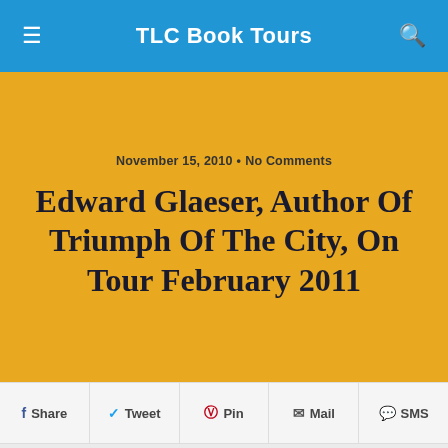TLC Book Tours
November 15, 2010 • No Comments
Edward Glaeser, Author Of Triumph Of The City, On Tour February 2011
Share  Tweet  Pin  Mail  SMS
[Figure (photo): Book cover of 'Triumph of the City' by Edward Glaeser showing a dark blue cityscape with a lamp post, subtitle: How Our Greatest Invention Makes Us Richer, Smarter, Greener, Healthier and Happier]